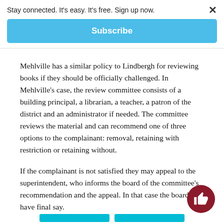Stay connected. It's easy. It's free. Sign up now.
Subscribe
Mehlville has a similar policy to Lindbergh for reviewing books if they should be officially challenged. In Mehlville's case, the review committee consists of a building principal, a librarian, a teacher, a patron of the district and an administrator if needed. The committee reviews the material and can recommend one of three options to the complainant: removal, retaining with restriction or retaining without.
If the complainant is not satisfied they may appeal to the superintendent, who informs the board of the committee's recommendation and the appeal. In that case the board will have final say.